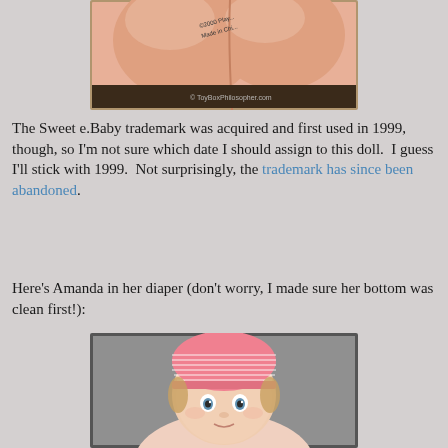[Figure (photo): Close-up photo of the bottom of a doll's head showing copyright mark '©2000 Play...' and 'Made in Chi...' text, with watermark 'ToyBoxPhilosopher.com' in bottom right corner.]
The Sweet e.Baby trademark was acquired and first used in 1999, though, so I'm not sure which date I should assign to this doll.  I guess I'll stick with 1999.  Not surprisingly, the trademark has since been abandoned.
Here's Amanda in her diaper (don't worry, I made sure her bottom was clean first!):
[Figure (photo): Photo of a baby doll with curly blonde hair wearing a pink striped knit hat, with blue eyes, against a grey background.]